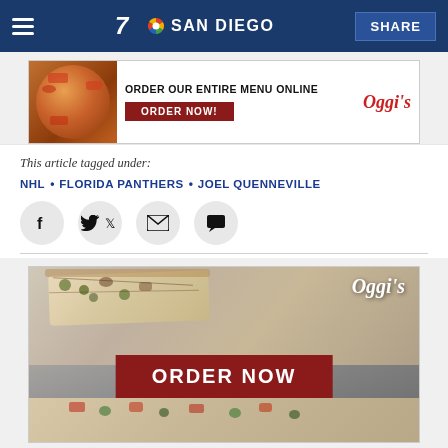7 SAN DIEGO | SHARE
[Figure (photo): Oggi's pizza advertisement banner: pizza image on left, 'ORDER OUR ENTIRE MENU ONLINE' headline, red ORDER NOW button, Oggi's logo on right]
This article tagged under:
NHL • FLORIDA PANTHERS • JOEL QUENNEVILLE
[Figure (infographic): Social sharing icons: Facebook, Twitter, Email, Comment buttons in grey circles]
[Figure (photo): Oggi's restaurant advertisement: flatbread pizzas on a table, Oggi's logo in white script, large red ORDER NOW button, more pizza visible at bottom]